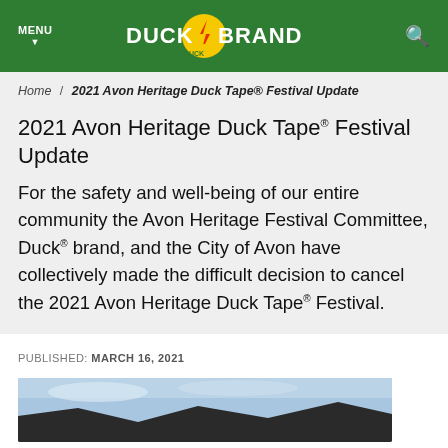MENU  DUCK BRAND  [search icon]
Home / 2021 Avon Heritage Duck Tape® Festival Update
2021 Avon Heritage Duck Tape® Festival Update
For the safety and well-being of our entire community the Avon Heritage Festival Committee, Duck® brand, and the City of Avon have collectively made the difficult decision to cancel the 2021 Avon Heritage Duck Tape® Festival.
PUBLISHED: MARCH 16, 2021
[Figure (photo): Partial photo of outdoor festival or landscape scene, blue sky and dark structure visible at bottom of page]